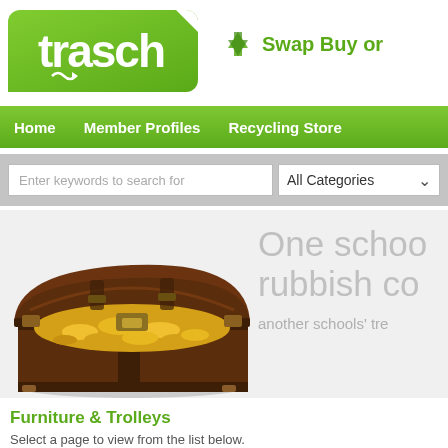[Figure (logo): Trasch logo – green rounded rectangle with white bold text 'trasch' and recycling arrow, beside text 'Swap Buy or...' with recycle icon]
Home   Member Profiles   Recycling Store
Enter keywords to search for   All Categories
[Figure (photo): Open wooden treasure chest filled with gold coins, occupying left half of banner area. Right side shows large grey text 'One schoo rubbish co' and smaller text 'another schools' tre']
Furniture & Trolleys
Select a page to view from the list below.